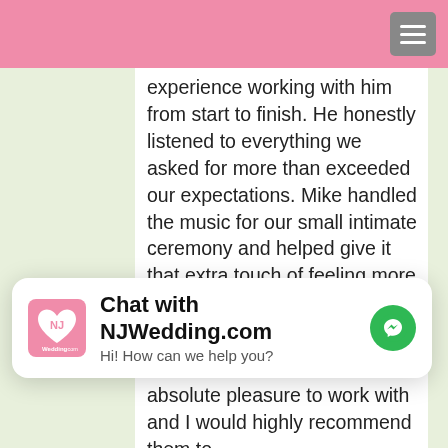seriously the best. He was super easy to work with and we had such a great experience working with him from start
experience working with him from start to finish. He honestly listened to everything we asked for more than exceeded our expectations. Mike handled the music for our small intimate ceremony and helped give it that extra touch of feeling more polished and pulled together. And he also helped us pull off an awesome party/reception. So many of our guests commented on how great he was and that they absolutely loved the music he played. He did a great job of getting everyone dancing and
[Figure (infographic): Chat widget overlay: NJWedding.com logo (pink heart), bold text 'Chat with NJWedding.com', subtitle 'Hi! How can we help you?', green messenger icon on the right.]
absolute pleasure to work with and I would highly recommend them to